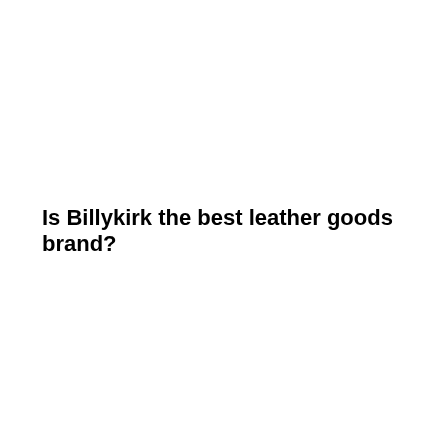Is Billykirk the best leather goods brand?